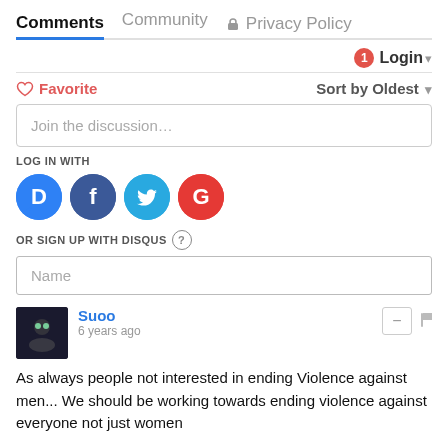Comments  Community  🔒 Privacy Policy
Login ▾
♡ Favorite   Sort by Oldest ▾
Join the discussion…
LOG IN WITH
[Figure (infographic): Social login icons: Disqus (D), Facebook (f), Twitter (bird), Google (G)]
OR SIGN UP WITH DISQUS ?
Name
Suoo
6 years ago
As always people not interested in ending Violence against men... We should be working towards ending violence against everyone not just women